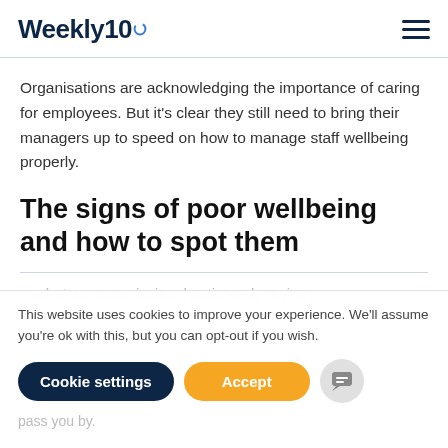Weekly10
Organisations are acknowledging the importance of caring for employees. But it's clear they still need to bring their managers up to speed on how to manage staff wellbeing properly.
The signs of poor wellbeing and how to spot them
This website uses cookies to improve your experience. We'll assume you're ok with this, but you can opt-out if you wish.